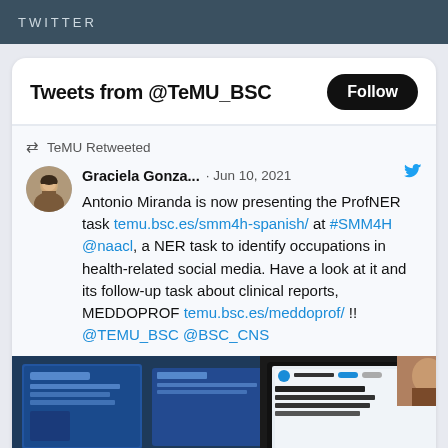TWITTER
Tweets from @TeMU_BSC
TeMU Retweeted
Graciela Gonza... · Jun 10, 2021
Antonio Miranda is now presenting the ProfNER task temu.bsc.es/smm4h-spanish/ at #SMM4H @naacl, a NER task to identify occupations in health-related social media. Have a look at it and its follow-up task about clinical reports, MEDDOPROF temu.bsc.es/meddoprof/ !! @TEMU_BSC @BSC_CNS
[Figure (screenshot): Screenshot of a presentation slide visible on a laptop screen, with blue background slides on the left and a laptop showing a ProfNER presentation screen on the right. A person is partially visible in the top-right corner.]